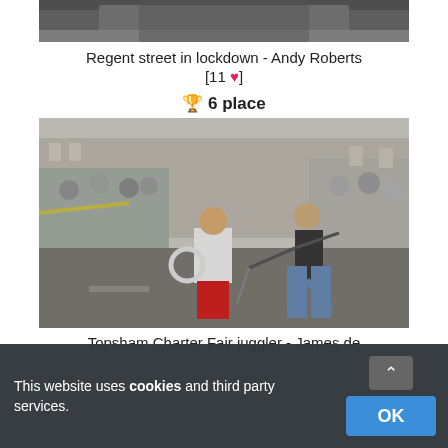[Figure (photo): Top portion of a black and white street photo (Regent street in lockdown) - partially cropped at top]
Regent street in lockdown - Andy Roberts
[11 ♥]
🏆 6 place
[Figure (photo): Color photo of Topsham Charter Fair juggler - a street performer doing a juggling act with a child in front of a crowd on a pedestrianized street]
Topsham Charter Fair juggler - James de
This website uses cookies and third party services.